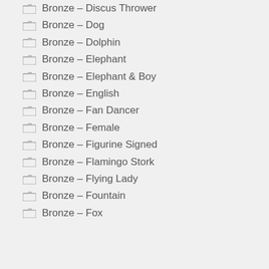Bronze – Discus Thrower
Bronze – Dog
Bronze – Dolphin
Bronze – Elephant
Bronze – Elephant & Boy
Bronze – English
Bronze – Fan Dancer
Bronze – Female
Bronze – Figurine Signed
Bronze – Flamingo Stork
Bronze – Flying Lady
Bronze – Fountain
Bronze – Fox